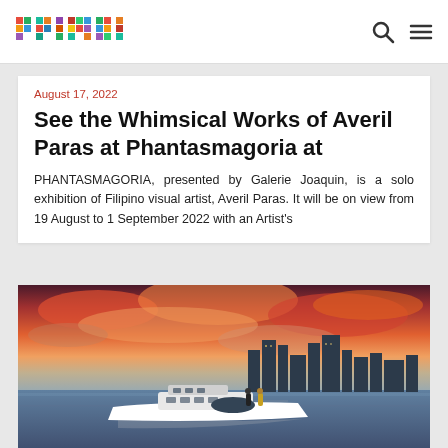primer (logo) | search | menu
August 17, 2022
See the Whimsical Works of Averil Paras at Phantasmagoria at
PHANTASMAGORIA, presented by Galerie Joaquin, is a solo exhibition of Filipino visual artist, Averil Paras. It will be on view from 19 August to 1 September 2022 with an Artist's
[Figure (photo): A white yacht on calm water with two people on deck. Behind it is a city skyline under a dramatic orange and pink sunset sky with clouds.]